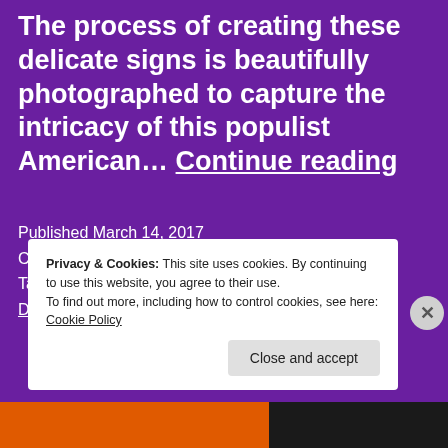The process of creating these delicate signs is beautifully photographed to capture the intricacy of this populist American… Continue reading
Published March 14, 2017
Categorized as Uncategorized
Tagged 38min, Bert Simonis & John C. Brown, Documentary, THE NEON STRUGGLE, USA
Privacy & Cookies: This site uses cookies. By continuing to use this website, you agree to their use.
To find out more, including how to control cookies, see here: Cookie Policy
Close and accept